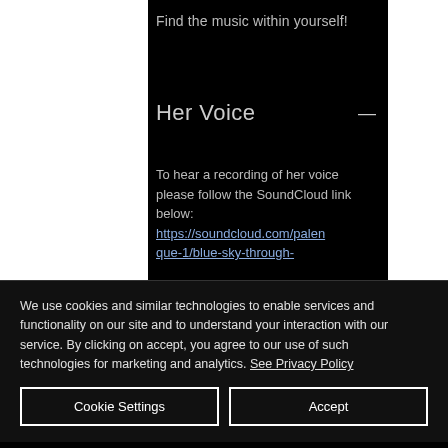Find the music within yourself!
Her Voice  —
To hear a recording of her voice please follow the SoundCloud link below:
https://soundcloud.com/palenque-1/blue-sky-through-
We use cookies and similar technologies to enable services and functionality on our site and to understand your interaction with our service. By clicking on accept, you agree to our use of such technologies for marketing and analytics. See Privacy Policy
Cookie Settings
Accept